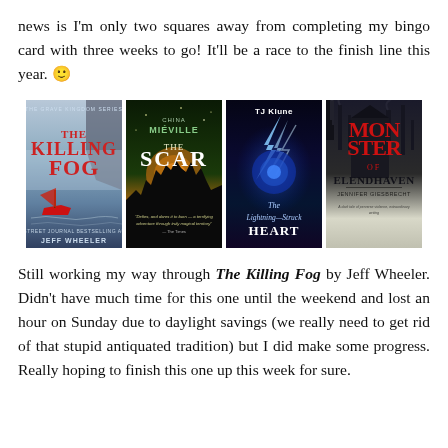news is I'm only two squares away from completing my bingo card with three weeks to go! It'll be a race to the finish line this year. 🙂
[Figure (photo): Four book covers side by side: The Killing Fog by Jeff Wheeler, The Scar by China Miéville, The Lightning-Struck Heart by TJ Klune, Monster of Elendhaven by Jennifer Giesbrecht]
Still working my way through The Killing Fog by Jeff Wheeler. Didn't have much time for this one until the weekend and lost an hour on Sunday due to daylight savings (we really need to get rid of that stupid antiquated tradition) but I did make some progress. Really hoping to finish this one up this week for sure.